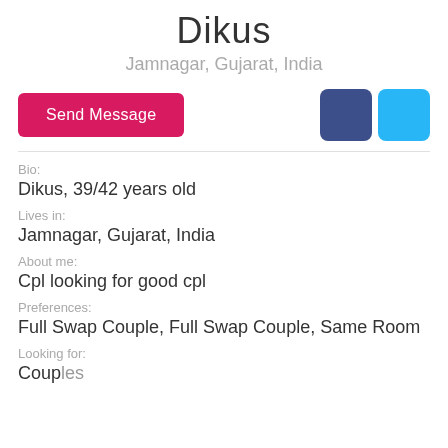Dikus
Jamnagar, Gujarat, India
Bio:
Dikus, 39/42 years old
Lives in:
Jamnagar, Gujarat, India
About me:
Cpl looking for good cpl
Preferences:
Full Swap Couple, Full Swap Couple, Same Room
Looking for:
Couples